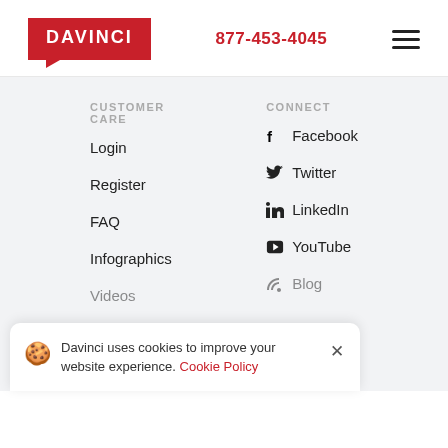[Figure (logo): Davinci logo - red rectangle with white text DAVINCI and speech bubble tail]
877-453-4045
[Figure (illustration): Hamburger menu icon - three horizontal lines]
CUSTOMER CARE
CONNECT
Login
Facebook
Register
Twitter
FAQ
LinkedIn
Infographics
YouTube
Videos
Blog
Davinci uses cookies to improve your website experience. Cookie Policy